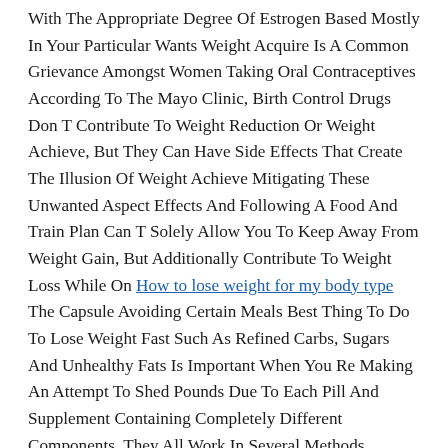With The Appropriate Degree Of Estrogen Based Mostly In Your Particular Wants Weight Acquire Is A Common Grievance Amongst Women Taking Oral Contraceptives According To The Mayo Clinic, Birth Control Drugs Don T Contribute To Weight Reduction Or Weight Achieve, But They Can Have Side Effects That Create The Illusion Of Weight Achieve Mitigating These Unwanted Aspect Effects And Following A Food And Train Plan Can T Solely Allow You To Keep Away From Weight Gain, But Additionally Contribute To Weight Loss While On How to lose weight for my body type The Capsule Avoiding Certain Meals Best Thing To Do To Lose Weight Fast Such As Refined Carbs, Sugars And Unhealthy Fats Is Important When You Re Making An Attempt To Shed Pounds Due To Each Pill And Supplement Containing Completely Different Components, They All Work In Several Methods.